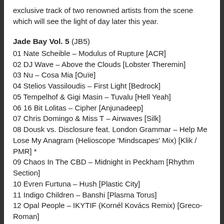exclusive track of two renowned artists from the scene which will see the light of day later this year.
Jade Bay Vol. 5 (JB5)
01 Nate Scheible – Modulus of Rupture [ACR]
02 DJ Wave – Above the Clouds [Lobster Theremin]
03 Nu – Cosa Mia [Ouïe]
04 Stelios Vassiloudis – First Light [Bedrock]
05 Tempelhof & Gigi Masin – Tuvalu [Hell Yeah]
06 16 Bit Lolitas – Cipher [Anjunadeep]
07 Chris Domingo & Miss T – Airwaves [Silk]
08 Dousk vs. Disclosure feat. London Grammar – Help Me Lose My Anagram (Helioscope 'Mindscapes' Mix) [Klik / PMR] *
09 Chaos In The CBD – Midnight in Peckham [Rhythm Section]
10 Evren Furtuna – Hush [Plastic City]
11 Indigo Children – Banshi [Plasma Torus]
12 Opal People – IKYTIF (Kornél Kovács Remix) [Greco-Roman]
13 Inhmost – Dream Oscillator [The Soundgarden]
14 Modd – Magic Footsteps [Kindisch]
15 Seb Wildblood – The One with the Emoticon [Omena]
16 Nuage – Sweet Run [20/20 Vision]